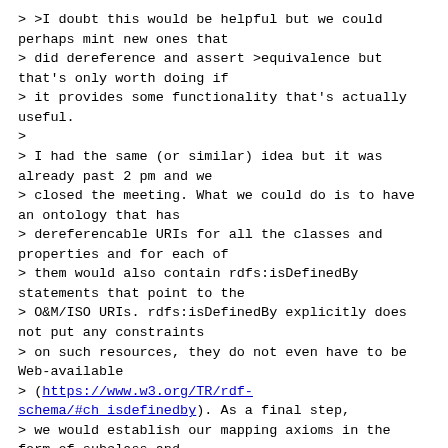> >I doubt this would be helpful but we could perhaps mint new ones that
> did dereference and assert >equivalence but that's only worth doing if
> it provides some functionality that's actually useful.
>
> I had the same (or similar) idea but it was already past 2 pm and we
> closed the meeting. What we could do is to have an ontology that has
> dereferencable URIs for all the classes and properties and for each of
> them would also contain rdfs:isDefinedBy statements that point to the
> O&M/ISO URIs. rdfs:isDefinedBy explicitly does not put any constraints
> on such resources, they do not even have to be Web-available
> (https://www.w3.org/TR/rdf-schema/#ch_isdefinedby). As a final step,
> we would establish our mapping axioms in the form of subclass and
> equivalence class relations from SOSA/SSN to these dereferenceable
> class and property URLs.